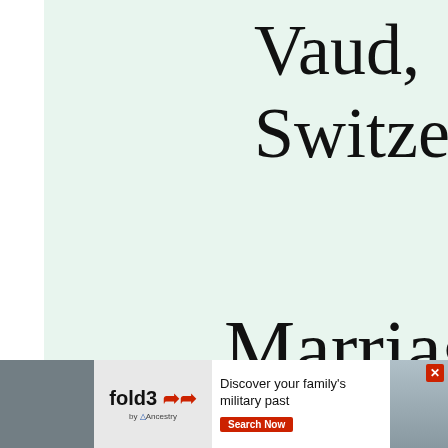Vaud, Switzerland
Marriage
[Figure (screenshot): Advertisement banner for Fold3 by Ancestry at bottom of page. Shows fold3 logo with red chevrons, text 'Discover your family's military past' with a Search Now button, and a historical photo of a soldier. Has a close/X button in corner.]